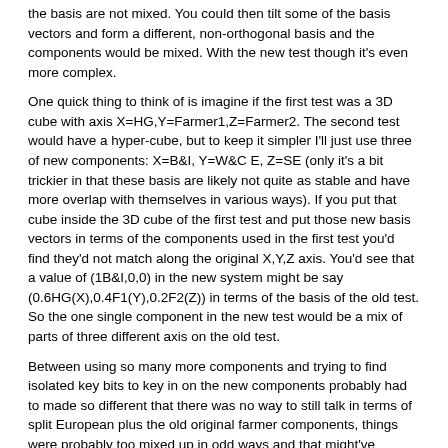the basis are not mixed. You could then tilt some of the basis vectors and form a different, non-orthogonal basis and the components would be mixed. With the new test though it's even more complex.
One quick thing to think of is imagine if the first test was a 3D cube with axis X=HG,Y=Farmer1,Z=Farmer2. The second test would have a hyper-cube, but to keep it simpler I'll just use three of new components: X=B&I, Y=W&C E, Z=SE (only it's a bit trickier in that these basis are likely not quite as stable and have more overlap with themselves in various ways). If you put that cube inside the 3D cube of the first test and put those new basis vectors in terms of the components used in the first test you'd find they'd not match along the original X,Y,Z axis. You'd see that a value of (1B&I,0,0) in the new system might be say (0.6HG(X),0.4F1(Y),0.2F2(Z)) in terms of the basis of the old test. So the one single component in the new test would be a mix of parts of three different axis on the old test.
Between using so many more components and trying to find isolated key bits to key in on the new components probably had to made so different that there was no way to still talk in terms of split European plus the old original farmer components, things were probably too mixed up in odd ways and that might've required even more basis and become more unstable perhaps.
Also I'm not sure ancestry composition is actually done that way though. I think they actually have use a very different technique that in the end is more like look at each little bit and see how well it matches each component so some spot might seem 70% like W&C E and 25% like SE and 5% like EE and they probably just call that spot W&C E and maybe forget the rest and then they maybe add up the totals of